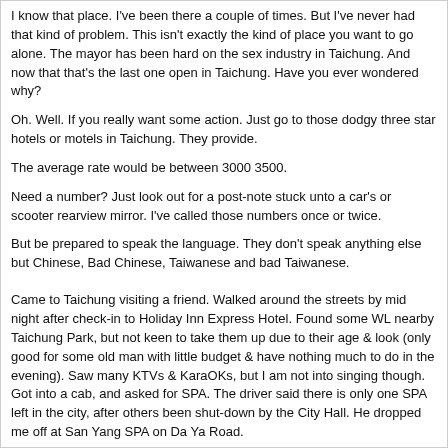I know that place. I've been there a couple of times. But I've never had that kind of problem. This isn't exactly the kind of place you want to go alone. The mayor has been hard on the sex industry in Taichung. And now that that's the last one open in Taichung. Have you ever wondered why?
Oh. Well. If you really want some action. Just go to those dodgy three star hotels or motels in Taichung. They provide.
The average rate would be between 3000 3500.
Need a number? Just look out for a post-note stuck unto a car's or scooter rearview mirror. I've called those numbers once or twice.
But be prepared to speak the language. They don't speak anything else but Chinese, Bad Chinese, Taiwanese and bad Taiwanese.
Came to Taichung visiting a friend. Walked around the streets by mid night after check-in to Holiday Inn Express Hotel. Found some WL nearby Taichung Park, but not keen to take them up due to their age & look (only good for some old man with little budget & have nothing much to do in the evening). Saw many KTVs & KaraOKs, but I am not into singing though. Got into a cab, and asked for SPA. The driver said there is only one SPA left in the city, after others been shut-down by the City Hall. He dropped me off at San Yang SPA on Da Ya Road.
Went in, did the usual SPA thing. Shower, pools, steam room/sauna room, then walked-up to the common area. The place is spread-up to 6 floors, and I was stopped by a male staff at 4th floor asking if I would like to have the full-package. Asked about the price, and he said is NT3800. Thought is OK since sounded cheaper than those SPAs in Taipei City.
Brought into a small room with massage bed & girl # 35 came in to serve. Face is no fancy, but attitude is good. Oil massage was good, followed by VERY good body-to-body massage. She is good in using her big tits to rub over my back & butt, which brought up lots of passions! Finally the AR, BJ(which she capped me by using her mouth) & the deed. Quite satisfied with her service although she seems to be enjoying the passion more than me.